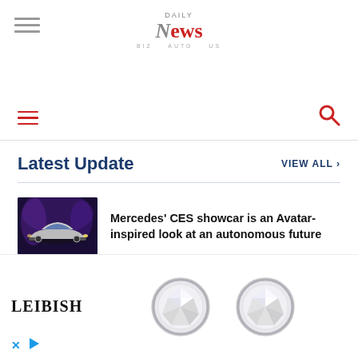DAILY News
[Figure (screenshot): Navigation bar with red hamburger menu icon on left and red search icon on right]
Latest Update
VIEW ALL >
[Figure (photo): Mercedes concept car - futuristic silver car with purple/blue atmospheric background]
Mercedes' CES showcar is an Avatar-inspired look at an autonomous future
Artistic Duo Create The Most Elaborate Paper Wigs
[Figure (photo): Advertisement for LEIBISH featuring two round diamond earrings]